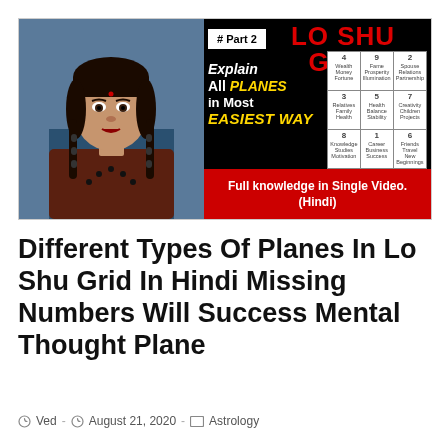[Figure (infographic): Video thumbnail showing a woman on the left side, and on the right side text reading 'LO SHU GRID Explain All PLANES in Most EASIEST WAY Full knowledge in Single Video. (Hindi)' with a 3x3 numbered grid and a red banner at the bottom. Top left shows '# Part 2' in a box.]
Different Types Of Planes In Lo Shu Grid In Hindi Missing Numbers Will Success Mental Thought Plane
Ved - August 21, 2020 - Astrology